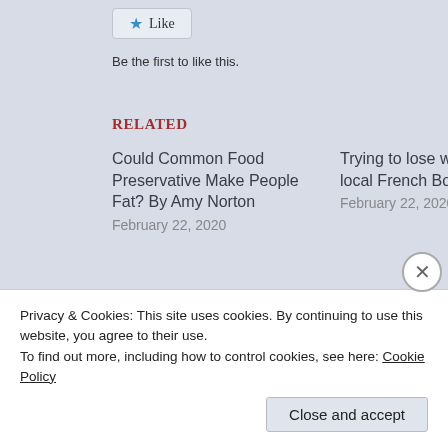[Figure (other): Like button with a blue star icon and the text 'Like']
Be the first to like this.
Related
Could Common Food Preservative Make People Fat? By Amy Norton
February 22, 2020
Trying to lose weight – try your local French Boulangerie.
February 22, 2020
The link between GMO corn and obesity in the US.
August 10, 2018
With 2 comments
Privacy & Cookies: This site uses cookies. By continuing to use this website, you agree to their use.
To find out more, including how to control cookies, see here: Cookie Policy
Close and accept